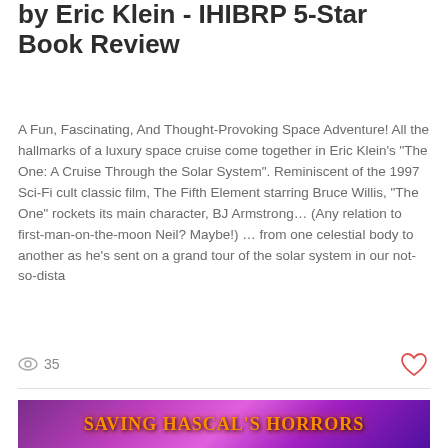by Eric Klein - IHIBRP 5-Star Book Review
A Fun, Fascinating, And Thought-Provoking Space Adventure! All the hallmarks of a luxury space cruise come together in Eric Klein’s “The One: A Cruise Through the Solar System”. Reminiscent of the 1997 Sci-Fi cult classic film, The Fifth Element starring Bruce Willis, “The One” rockets its main character, BJ Armstrong… (Any relation to first-man-on-the-moon Neil? Maybe!) … from one celestial body to another as he’s sent on a grand tour of the solar system in our not-so-dista
35
[Figure (photo): Banner image with purple/magenta cosmic background and text reading SAVING HASCAL'S HORRORS in orange stylized letters]